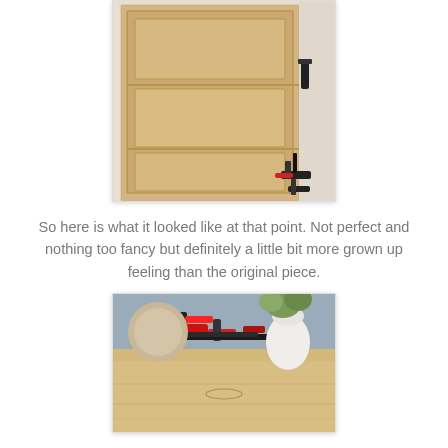[Figure (photo): Close-up photo of a light wood panel/door with raised molding detail, leaning against a wall. Red and black clamps visible at the bottom right corner.]
So here is what it looked like at that point. Not perfect and nothing too fancy but definitely a little bit more grown up feeling than the original piece.
[Figure (photo): Photo of a light wood dresser or furniture piece with red and black clamps resting on top. A white vase with greenery and a decorative round object are visible behind it against a blue-gray wall.]